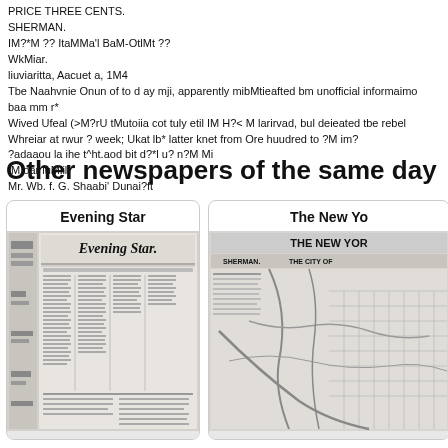PRICE THREE CENTS.
SHERMAN.
IM?*M ?? ItaMMa'l BaM-OtlMt ??
WkMiar.
liuviaritta, Aacuet a, 1M4
Tbe Naahvnie Onun of to d ay mji, apparently mibMtieafted bm unofficial informaimo baa mm r*
Wived Ufeal (>M?rU tMutoiia cot tuly etil IM H?< M larirvad, bul deieated tbe rebel Whreiar at rwur ? week; Ukat lb* latter knet from Ore huudred to ?M im?
?adaaou la ihe t^ht.aod bit d?*l u? n?M Mi
IM oar luMlil
Mr. Wb. f. G. Shaabi' Dunai?ft
Other newspapers of the same day
[Figure (photo): Evening Star newspaper front page showing masthead 'Evening Star' in Gothic font, with columns of text]
Evening Star
[Figure (photo): The New York newspaper front page showing 'THE NEW YOR' masthead and 'THE CITY OF' with a map]
The New Yo